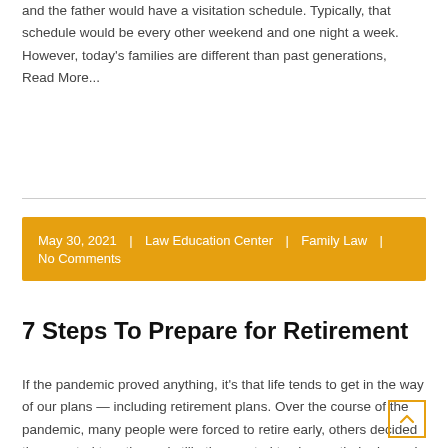and the father would have a visitation schedule. Typically, that schedule would be every other weekend and one night a week. However, today's families are different than past generations,   Read More...
May 30, 2021  |  Law Education Center  |  Family Law  |  No Comments
7 Steps To Prepare for Retirement
If the pandemic proved anything, it's that life tends to get in the way of our plans — including retirement plans. Over the course of the pandemic, many people were forced to retire early, others decided they wanted to retire and still others opted to change their planned retirement date.   Read More...